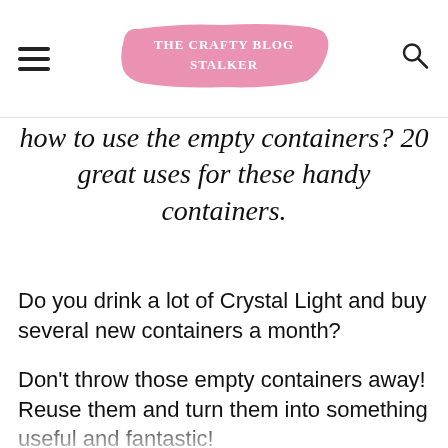The Crafty Blog Stalker
how to use the empty containers? 20 great uses for these handy containers.
Do you drink a lot of Crystal Light and buy several new containers a month?
Don't throw those empty containers away! Reuse them and turn them into something useful and fantastic!